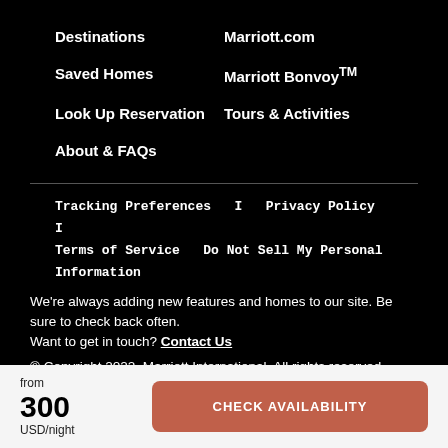Destinations
Marriott.com
Saved Homes
Marriott BonvoyTM
Look Up Reservation
Tours & Activities
About & FAQs
Tracking Preferences  |  Privacy Policy  |  Terms of Service  Do Not Sell My Personal Information
We're always adding new features and homes to our site. Be sure to check back often.
Want to get in touch? Contact Us
© Copyright 2022, Marriott International, All rights reserved.
from
300
USD/night
CHECK AVAILABILITY